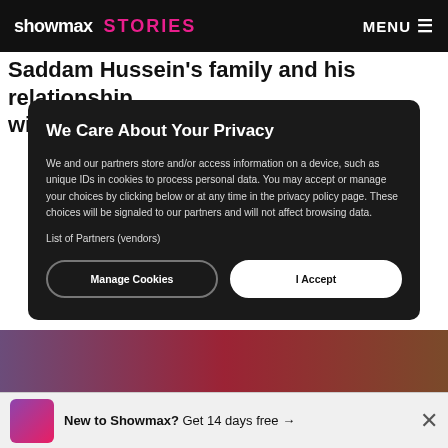showmax STORIES  MENU
Saddam Hussein's family and his relationship with his daughters
We Care About Your Privacy
We and our partners store and/or access information on a device, such as unique IDs in cookies to process personal data. You may accept or manage your choices by clicking below or at any time in the privacy policy page. These choices will be signaled to our partners and will not affect browsing data.
List of Partners (vendors)
Manage Cookies   I Accept
New to Showmax? Get 14 days free →